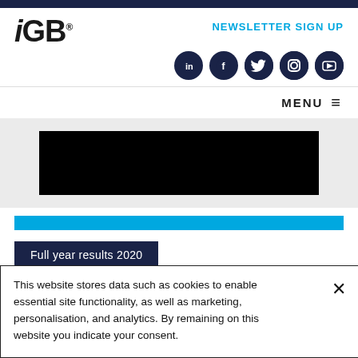[Figure (logo): iGB logo with registered trademark symbol]
NEWSLETTER SIGN UP
[Figure (infographic): Social media icons: LinkedIn, Facebook, Twitter, Instagram, YouTube — circular dark navy buttons]
MENU ≡
[Figure (photo): Black redacted/blocked image banner]
[Figure (other): Bright blue horizontal bar]
Full year results 2020
This website stores data such as cookies to enable essential site functionality, as well as marketing, personalisation, and analytics. By remaining on this website you indicate your consent.